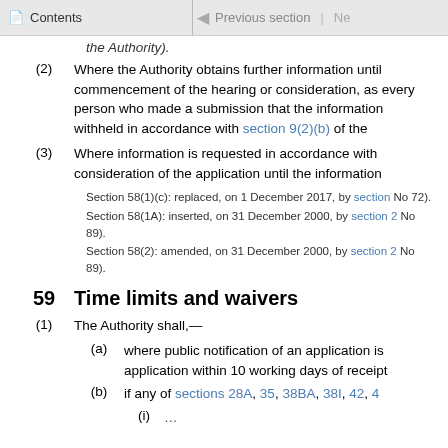Contents | Previous section | Ne
the Authority).
(2) Where the Authority obtains further information until commencement of the hearing or consideration, as every person who made a submission that the information withheld in accordance with section 9(2)(b) of the
(3) Where information is requested in accordance with consideration of the application until the information
Section 58(1)(c): replaced, on 1 December 2017, by section No 72).
Section 58(1A): inserted, on 31 December 2000, by section 2 No 89).
Section 58(2): amended, on 31 December 2000, by section 2 No 89).
59 Time limits and waivers
(1) The Authority shall,—
(a) where public notification of an application is application within 10 working days of receipt
(b) if any of sections 28A, 35, 38BA, 38I, 42, 4
(i)